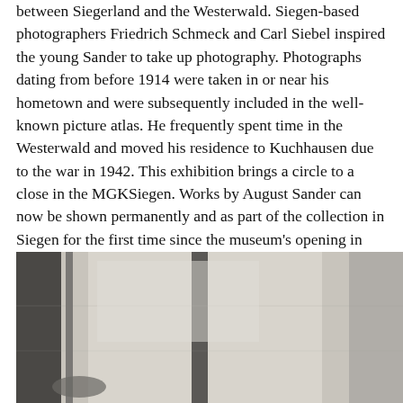between Siegerland and the Westerwald. Siegen-based photographers Friedrich Schmeck and Carl Siebel inspired the young Sander to take up photography. Photographs dating from before 1914 were taken in or near his hometown and were subsequently included in the well-known picture atlas. He frequently spent time in the Westerwald and moved his residence to Kuchhausen due to the war in 1942. This exhibition brings a circle to a close in the MGKSiegen. Works by August Sander can now be shown permanently and as part of the collection in Siegen for the first time since the museum's opening in 2001.
[Figure (photo): Black and white photograph showing what appears to be an interior scene with vertical architectural elements and soft lighting, partially cropped at page bottom.]